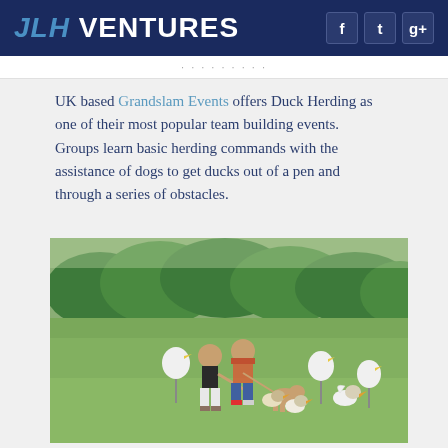JLH VENTURES
UK based Grandslam Events offers Duck Herding as one of their most popular team building events. Groups learn basic herding commands with the assistance of dogs to get ducks out of a pen and through a series of obstacles.
[Figure (photo): Two people herding ducks with a dog across a grassy field, with trees in the background. Duck cutout signs visible.]